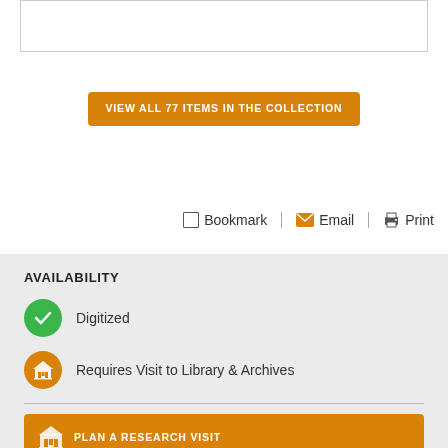[Figure (other): White box with border at top of page (image placeholder)]
VIEW ALL 77 ITEMS IN THE COLLECTION
Bookmark | Email | Print
AVAILABILITY
Digitized
Requires Visit to Library & Archives
PLAN A RESEARCH VISIT